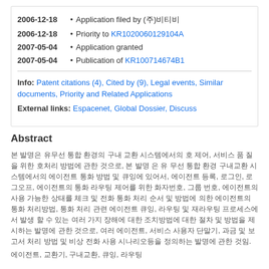2006-12-18 • Application filed by (주)비티비
2006-12-18 • Priority to KR1020060129104A
2007-05-04 • Application granted
2007-05-04 • Publication of KR100714674B1
Info: Patent citations (4), Cited by (9), Legal events, Similar documents, Priority and Related Applications
External links: Espacenet, Global Dossier, Discuss
Abstract
본 발명은 유무선 통합 환경의 구내 교환 시스템에서의 호 제어, 서비스 품 질을 위한 호처리 방법에 관한 것으로, 본 발명 은 유 무선 통합 환경 구내교환 시스템에서의 에이전트 통화 방법 및 큐잉에 있어서, 에이전트 등록, 로그인, 로그오프, 에이전트의 통화 라우팅 제어를 위한 화자번호, 그룹 번호, 에이전트의 사용 가능한 상태를 체크 및 전화 통화 처리 순서 및 방법에 의한 에이전트의 통화 처리방법, 통화 처리 관련 에이전트 큐잉, 라우팅 및 재라우팅 프로세스에서 발생 할 수 있는 여러 가지 장해에 대한 조치방법에 대한 절차 및 방법을 제시하는 발명에 관한 것으로, 여러 에이전트, 서비스 사용자 단말기, 과금 및 보고서 처리 방법 및 비상 전화 사용 시나리오등을 정의하는 발명에 관한 것임.
에이전트, 교환기, 구내교환, 큐잉, 라우팅